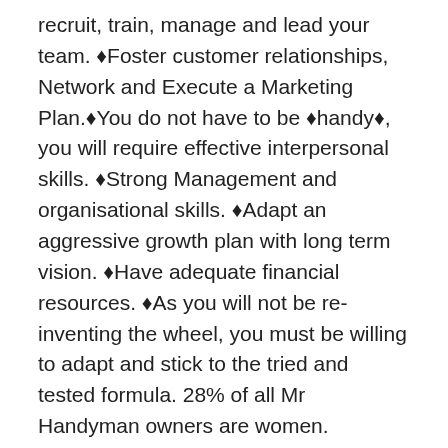recruit, train, manage and lead your team. �Foster customer relationships, Network and Execute a Marketing Plan.�You do not have to be �handy�, you will require effective interpersonal skills. �Strong Management and organisational skills. �Adapt an aggressive growth plan with long term vision. �Have adequate financial resources. �As you will not be re-inventing the wheel, you must be willing to adapt and stick to the tried and tested formula. 28% of all Mr Handyman owners are women.
London, London
Entrepreneurs Allliance
We are an exclusive team of business professionals committed to delivering a comprehensive range of